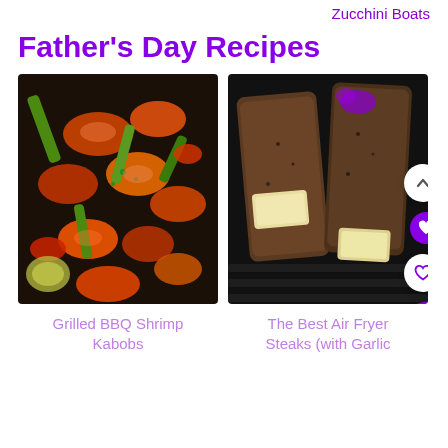Zucchini Boats
Father's Day Recipes
[Figure (photo): Grilled BBQ shrimp kabobs with colorful vegetables on skewers in a dark pan]
[Figure (photo): Air fryer steaks with butter pats on a dark grill surface, with UI overlay buttons (chevron up, heart filled, heart outline, search)]
Grilled BBQ Shrimp Kabobs
The Best Air Fryer Steaks (with Garlic